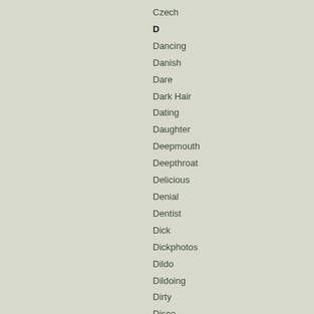Czech
D
Dancing
Danish
Dare
Dark Hair
Dating
Daughter
Deepmouth
Deepthroat
Delicious
Denial
Dentist
Dick
Dickphotos
Dildo
Dildoing
Dirty
Disco
Doctor
Doggystyle
Doll
Domination
Dominion